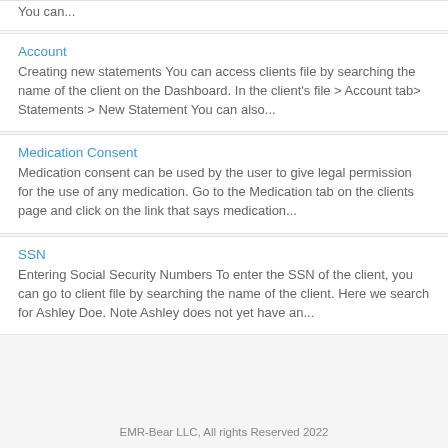You can...
Account
Creating new statements You can access clients file by searching the name of the client on the Dashboard. In the client's file &gt; Account tab&gt; Statements &gt; New Statement You can also...
Medication Consent
Medication consent can be used by the user to give legal permission for the use of any medication. Go to the Medication tab on the clients page and click on the link that says medication...
SSN
Entering Social Security Numbers To enter the SSN of the client, you can go to client file by searching the name of the client. Here we search for Ashley Doe. Note Ashley does not yet have an...
EMR-Bear LLC, All rights Reserved 2022